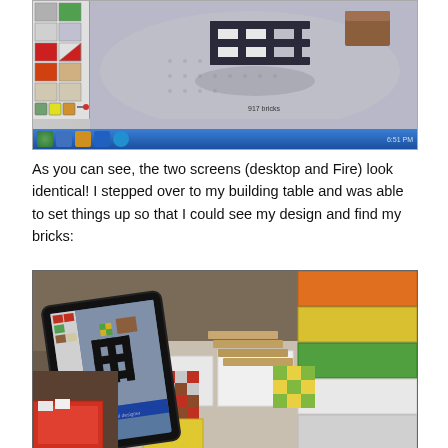[Figure (screenshot): Screenshot of a LEGO digital designer application on a Windows desktop, showing a 3D LEGO build with dark structural elements on a gray baseplate, with a sidebar of LEGO tile options on the left.]
As you can see, the two screens (desktop and Fire) look identical! I stepped over to my building table and was able to set things up so that I could see my design and find my bricks:
[Figure (photo): Photo of a building table with a tablet (Amazon Fire) propped up showing the LEGO digital designer app, surrounded by sorted LEGO bricks in various colors including red, brown, yellow, green, orange, and white, organized in containers.]